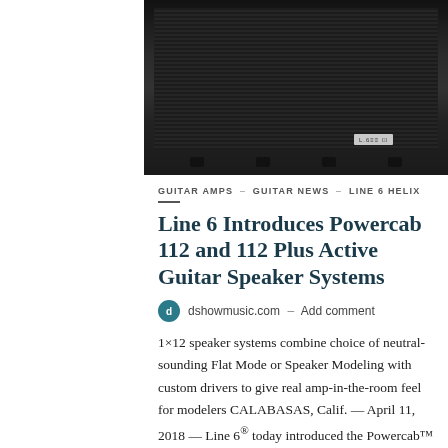[Figure (photo): Dark guitar amplifier cabinet with black grille cloth and small badge logo, shown against dark background]
GUITAR AMPS – GUITAR NEWS – LINE 6 HELIX
Line 6 Introduces Powercab 112 and 112 Plus Active Guitar Speaker Systems
dshowmusic.com – Add comment
1×12 speaker systems combine choice of neutral-sounding Flat Mode or Speaker Modeling with custom drivers to give real amp-in-the-room feel for modelers CALABASAS, Calif. — April 11, 2018 — Line 6® today introduced the Powercab™ 112 and…